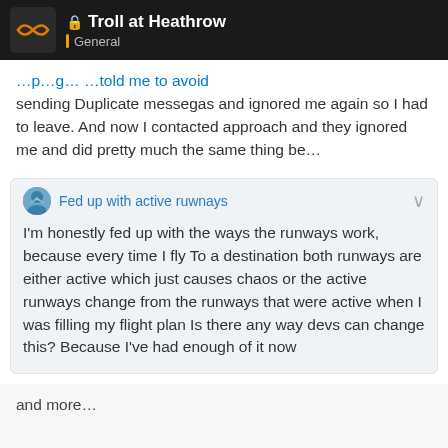🔒 Troll at Heathrow — General
sending Duplicate messegas and ignored me again so I had to leave. And now I contacted approach and they ignored me and did pretty much the same thing be…
Fed up with active ruwnays
I'm honestly fed up with the ways the runways work, because every time I fly To a destination both runways are either active which just causes chaos or the active runways change from the runways that were active when I was filling my flight plan Is there any way devs can change this? Because I've had enough of it now
and more…
21 / 38